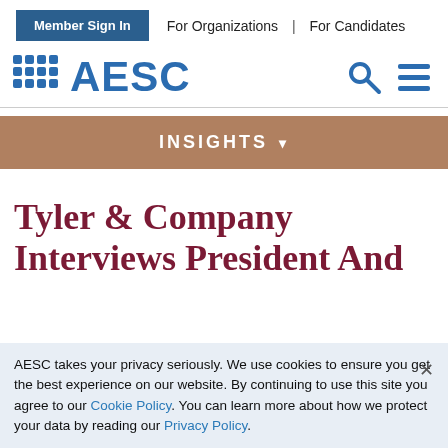Member Sign In | For Organizations | For Candidates
[Figure (logo): AESC logo with blue dot grid and text, plus search and menu icons]
[Figure (infographic): INSIGHTS navigation bar with dropdown arrow, tan/brown background]
Tyler & Company Interviews President And
AESC takes your privacy seriously. We use cookies to ensure you get the best experience on our website. By continuing to use this site you agree to our Cookie Policy. You can learn more about how we protect your data by reading our Privacy Policy.